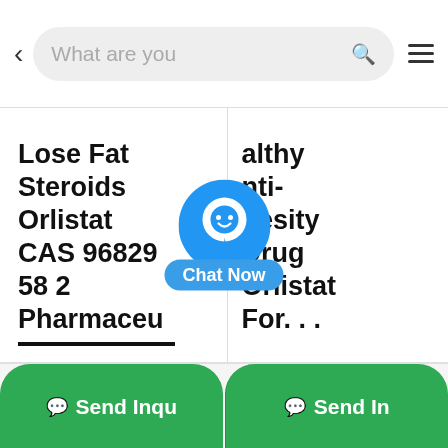< What are you [searching...] 🔍 ≡
Lose Fat Steroids Orlistat CAS 96829 58 2 Pharmaceu...
[Figure (other): Chat Now button overlay with blue circular icon containing a smiley face and blue rounded rectangle label reading 'Chat Now']
...althy Anti-obesity Drug Orlistat For. . .
Send Inqu... | Send In...